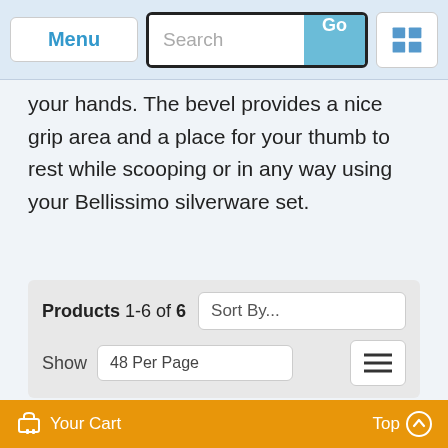Menu | Search | Go | [list icon]
your hands. The bevel provides a nice grip area and a place for your thumb to rest while scooping or in any way using your Bellissimo silverware set.
Products 1-6 of 6  Sort By...  Show 48 Per Page
[Figure (photo): Multiple silver forks fanned out, shown from the tines downward, on a white background.]
Your Cart   Top